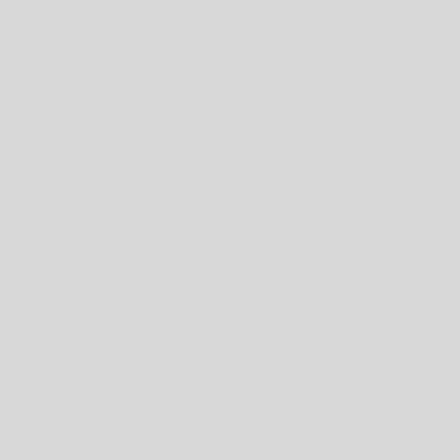Over 442 and under 7 inches in length.
7 inches and over in length. 77 swords and side 50 per cent.
50 per cent.
30 per cent. arms, irrespective use, wholly 96 or in part of metal
40 per cent 97..... 20 or 50 per
unfinished and parts the 365 Shotguns, rifles, and co
shotguns and rifles: Valued at not more than $5
per cent. Valued at more than $5
$4 each and 45 per
35 per cent. not more than $10
cent.